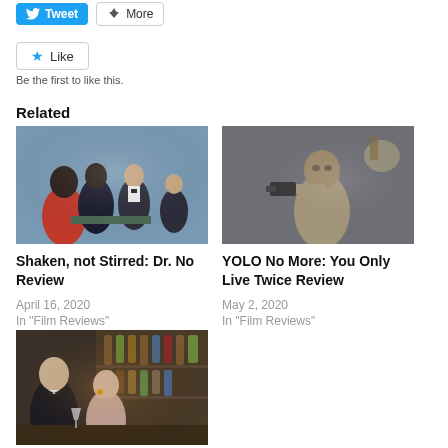[Figure (screenshot): Tweet and More social sharing buttons]
[Figure (screenshot): Like button with star icon]
Be the first to like this.
Related
[Figure (photo): Scene from Dr. No film showing people at a casino table]
Shaken, not Stirred: Dr. No Review
April 16, 2020
In "Film Reviews"
[Figure (photo): Scene from You Only Live Twice showing man with gun]
YOLO No More: You Only Live Twice Review
May 2, 2020
In "Film Reviews"
[Figure (photo): Scene from a Bond film showing man in tuxedo and woman at a bar]